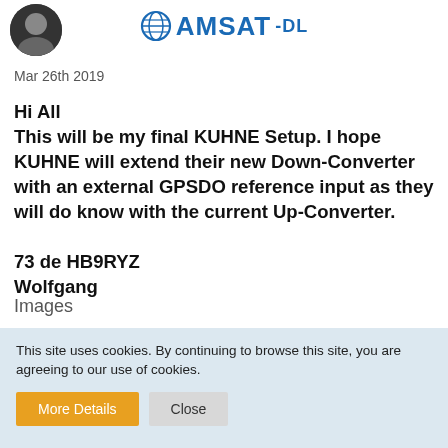[Figure (photo): Small circular avatar photo of a person]
AMSAT-DL
Mar 26th 2019
Hi All
This will be my final KUHNE Setup. I hope KUHNE will extend their new Down-Converter with an external GPSDO reference input as they will do know with the current Up-Converter.

73 de HB9RYZ
Wolfgang
Images
This site uses cookies. By continuing to browse this site, you are agreeing to our use of cookies.